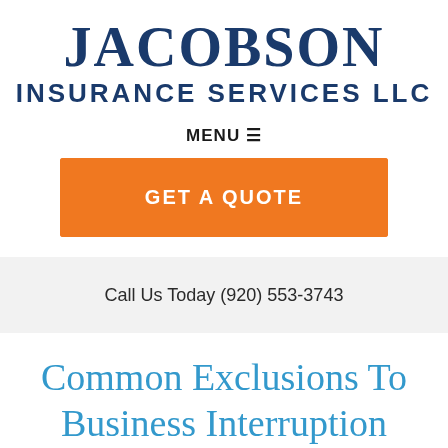[Figure (logo): Jacobson Insurance Services LLC logo with large serif JACOBSON text above bold sans-serif INSURANCE SERVICES LLC]
MENU ☰
GET A QUOTE
Call Us Today (920) 553-3743
Common Exclusions To Business Interruption